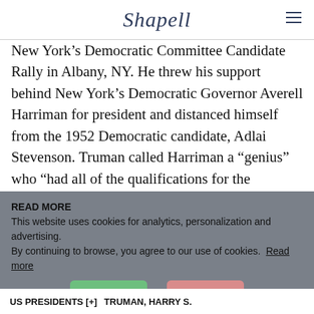Shapell
New York’s Democratic Committee Candidate Rally in Albany, NY. He threw his support behind New York’s Democratic Governor Averell Harriman for president and distanced himself from the 1952 Democratic candidate, Adlai Stevenson. Truman called Harriman a “genius” who “had all of the qualifications for the presidency,” which Truman told the crowd was a “great white jail.” Although he did not formally endorse Harriman, he said, “if I were a citizen of New York, I know who I’d be for.” Truman writes Acheson that he wanted to “stir up the animals,” and he did just
READ MORE
This website uses cookies for analytics, personalization and advertising.
By continuing to browse, you agree to our use of cookies. Read more
US PRESIDENTS [+]    TRUMAN, HARRY S.